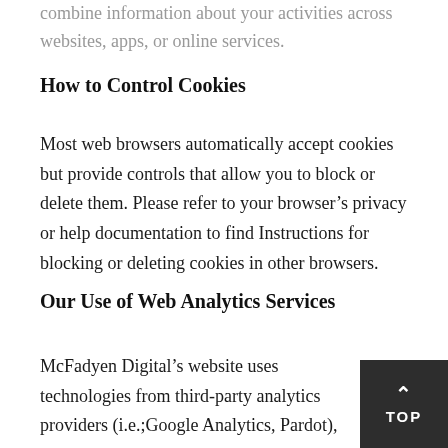combine information about your activities across websites, apps, or online services.
How to Control Cookies
Most web browsers automatically accept cookies but provide controls that allow you to block or delete them. Please refer to your browser’s privacy or help documentation to find Instructions for blocking or deleting cookies in other browsers.
Our Use of Web Analytics Services
McFadyen Digital’s website uses technologies from third-party analytics providers (i.e.;Google Analytics, Pardot), which help us compile aggregated statistics about the effectiveness of our marketing